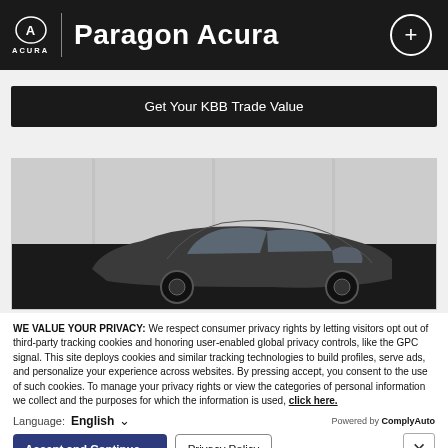Paragon Acura
Get Your KBB Trade Value
[Figure (photo): Side view of a dark-colored Acura sedan in a showroom/dealership setting, partially visible]
WE VALUE YOUR PRIVACY: We respect consumer privacy rights by letting visitors opt out of third-party tracking cookies and honoring user-enabled global privacy controls, like the GPC signal. This site deploys cookies and similar tracking technologies to build profiles, serve ads, and personalize your experience across websites. By pressing accept, you consent to the use of such cookies. To manage your privacy rights or view the categories of personal information we collect and the purposes for which the information is used, click here.
Language: English  Powered by ComplyAuto
Accept and Continue → | Privacy Policy | ×